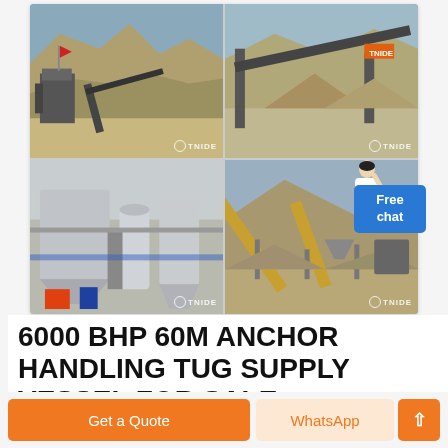[Figure (photo): Four-panel photo grid showing mining/quarrying crushing plant equipment and conveyor systems, each image watermarked with TNIDE logo. Top-left: quarry face with jaw crusher and conveyor. Top-right: large conveyor system at quarry site. Bottom-left: industrial dust collector and grinding mill facility. Bottom-right: aggregate processing plant with conveyors and hoppers.]
6000 BHP 60M ANCHOR HANDLING TUG SUPPLY VESSEL FOR SALE ...
Get a Quote
WhatsApp